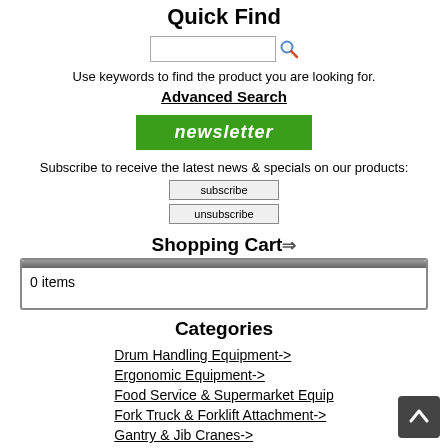Quick Find
Use keywords to find the product you are looking for.
Advanced Search
[Figure (other): Newsletter green button with italic text 'newsletter']
Subscribe to receive the latest news & specials on our products:
subscribe
unsubscribe
Shopping Cart
0 items
Categories
Drum Handling Equipment->
Ergonomic Equipment->
Food Service & Supermarket Equip
Fork Truck & Forklift Attachment->
Gantry & Jib Cranes->
Hoist & Haul Equipment
Industrial Carts, Jacks, Dollies->
Industrial Hose Reels->
Industrial Ladders->